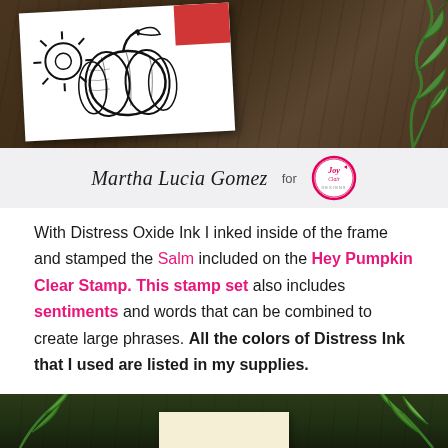[Figure (photo): Top photo showing a stamped card with black ink flower/pumpkin design on white card stock, a red geometric shape, set against a dark wooden background with green plant leaves on the right side.]
Martha Lucia Gomez for [Joy Clair Designs logo]
With Distress Oxide Ink I inked inside of the frame and stamped the Salm included on the Hey Pumpkin Clear Stamp. This stamp set also includes sentiments and words that can be combined to create large phrases. All the colors of Distress Ink that I used are listed in my supplies.
[Figure (photo): Bottom photo showing a cream/ivory colored card on dark wooden surface with green leafy plants arranged around it.]